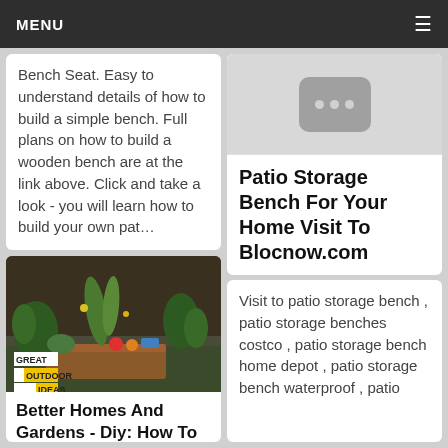MENU
Bench Seat. Easy to understand details of how to build a simple bench. Full plans on how to build a wooden bench are at the link above. Click and take a look - you will learn how to build your own pat…
[Figure (photo): Outdoor garden scene with tropical plants and a wooden planter box/bench. Yellow badge text overlay reading GREAT OUTDOOR IDEAS.]
Better Homes And Gardens - Diy: How To Make An
[Figure (other): Gray placeholder thumbnail with three dots icon, indicating a video or loading image.]
Patio Storage Bench For Your Home Visit To Blocnow.com
Visit to patio storage bench , patio storage benches costco , patio storage bench home depot , patio storage bench waterproof , patio